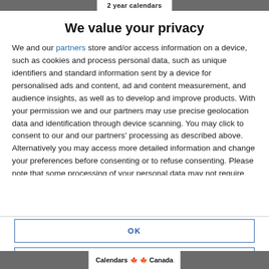2 year calendars
We value your privacy
We and our partners store and/or access information on a device, such as cookies and process personal data, such as unique identifiers and standard information sent by a device for personalised ads and content, ad and content measurement, and audience insights, as well as to develop and improve products. With your permission we and our partners may use precise geolocation data and identification through device scanning. You may click to consent to our and our partners' processing as described above. Alternatively you may access more detailed information and change your preferences before consenting or to refuse consenting. Please note that some processing of your personal data may not require your consent, but you have a right to
OK
MORE OPTIONS
Calendars Canada